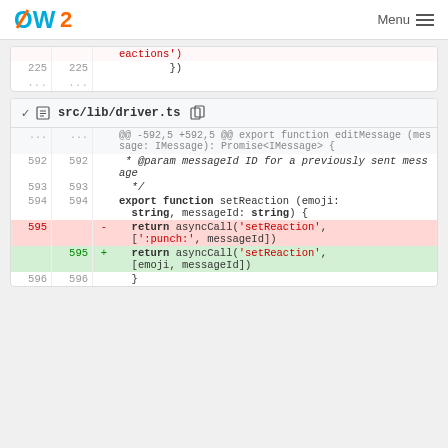OW2 Menu
[Figure (screenshot): Code diff block showing line 225 with '})' and ellipsis rows]
[Figure (screenshot): Code diff block for src/lib/driver.ts showing changes to setReaction function]
src/lib/driver.ts diff: lines 592-596 showing setReaction function change from ':punch:' hardcoded to emoji parameter